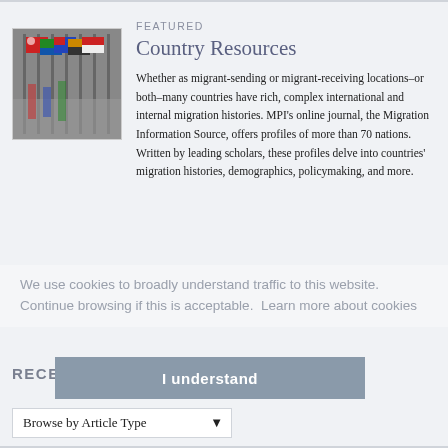[Figure (photo): Photograph of colorful international flags on poles, with flags from multiple nations visible, slightly blurred background]
FEATURED
Country Resources
Whether as migrant-sending or migrant-receiving locations–or both–many countries have rich, complex international and internal migration histories. MPI's online journal, the Migration Information Source, offers profiles of more than 70 nations. Written by leading scholars, these profiles delve into countries' migration histories, demographics, policymaking, and more.
We use cookies to broadly understand traffic to this website. Continue browsing if this is acceptable.  Learn more about cookies
RECENT ARTICLES
I understand
Browse by Article Type